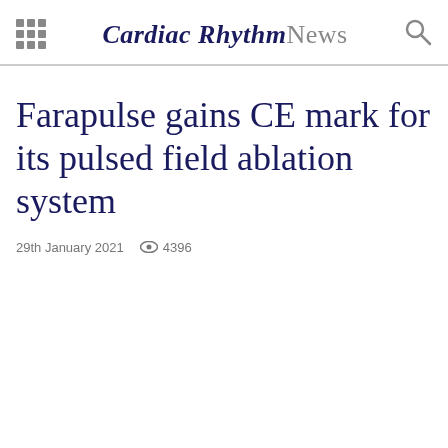Cardiac Rhythm News
Farapulse gains CE mark for its pulsed field ablation system
29th January 2021  4396